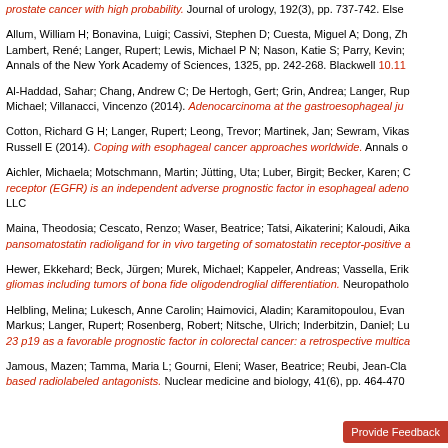prostate cancer with high probability. Journal of urology, 192(3), pp. 737-742. Else
Allum, William H; Bonavina, Luigi; Cassivi, Stephen D; Cuesta, Miguel A; Dong, Zh Lambert, René; Langer, Rupert; Lewis, Michael P N; Nason, Katie S; Parry, Kevin; Annals of the New York Academy of Sciences, 1325, pp. 242-268. Blackwell 10.11
Al-Haddad, Sahar; Chang, Andrew C; De Hertogh, Gert; Grin, Andrea; Langer, Rup Michael; Villanacci, Vincenzo (2014). Adenocarcinoma at the gastroesophageal ju
Cotton, Richard G H; Langer, Rupert; Leong, Trevor; Martinek, Jan; Sewram, Vikas Russell E (2014). Coping with esophageal cancer approaches worldwide. Annals o
Aichler, Michaela; Motschmann, Martin; Jütting, Uta; Luber, Birgit; Becker, Karen; C receptor (EGFR) is an independent adverse prognostic factor in esophageal adeno LLC
Maina, Theodosia; Cescato, Renzo; Waser, Beatrice; Tatsi, Aikaterini; Kaloudi, Aika pansomatostatin radioligand for in vivo targeting of somatostatin receptor-positive a
Hewer, Ekkehard; Beck, Jürgen; Murek, Michael; Kappeler, Andreas; Vassella, Erik gliomas including tumors of bona fide oligodendroglial differentiation. Neuropatholo
Helbling, Melina; Lukesch, Anne Carolin; Haimovici, Aladin; Karamitopoulou, Evan Markus; Langer, Rupert; Rosenberg, Robert; Nitsche, Ulrich; Inderbitzin, Daniel; Lu 23 p19 as a favorable prognostic factor in colorectal cancer: a retrospective multica
Jamous, Mazen; Tamma, Maria L; Gourni, Eleni; Waser, Beatrice; Reubi, Jean-Cla based radiolabeled antagonists. Nuclear medicine and biology, 41(6), pp. 464-470
Provide Feedback